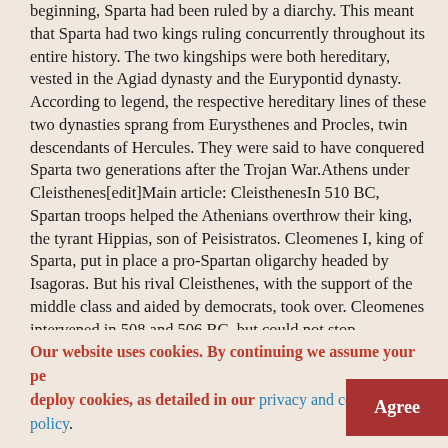beginning, Sparta had been ruled by a diarchy. This meant that Sparta had two kings ruling concurrently throughout its entire history. The two kingships were both hereditary, vested in the Agiad dynasty and the Eurypontid dynasty. According to legend, the respective hereditary lines of these two dynasties sprang from Eurysthenes and Procles, twin descendants of Hercules. They were said to have conquered Sparta two generations after the Trojan War.Athens under Cleisthenes[edit]Main article: CleisthenesIn 510 BC, Spartan troops helped the Athenians overthrow their king, the tyrant Hippias, son of Peisistratos. Cleomenes I, king of Sparta, put in place a pro-Spartan oligarchy headed by Isagoras. But his rival Cleisthenes, with the support of the middle class and aided by democrats, took over. Cleomenes intervened in 508 and 506 BC, but could not stop Cleisthenes, now supported by the Athenians. Through his reforms, the people endowed their city with isonomic institutions — i.e. with equal rights for all (male citizens?)—and established ostracism.The isonomic and isegoric[5] democracy was first organized into about 130 demes, which became the foundational civic element. The 10,000 citizens exercised their power as members of the assembly (Ἐκκλησία, ekklesia), headed by a council of 500 citizens chosen at random. The city's administrative geography was reworked
Our website uses cookies. By continuing we assume your permission to deploy cookies, as detailed in our privacy and cookies policy.